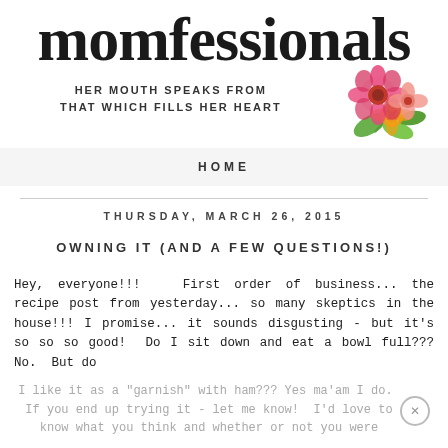[Figure (logo): Momfessionals blog logo with cursive script text and floral watercolor decoration. Subtitle reads: HER MOUTH SPEAKS FROM THAT WHICH FILLS HER HEART]
HOME
THURSDAY, MARCH 26, 2015
OWNING IT (AND A FEW QUESTIONS!)
Hey, everyone!!!  First order of business... the recipe post from yesterday... so many skeptics in the house!!!  I promise... it sounds disgusting - but it's so so so good!  Do I sit down and eat a bowl full??? No.  But do I like it as a "garnish" with ham??? Yes ma'am I do.  If you end up trying it - let me know!  I'd love to know what you think and whether or not you were